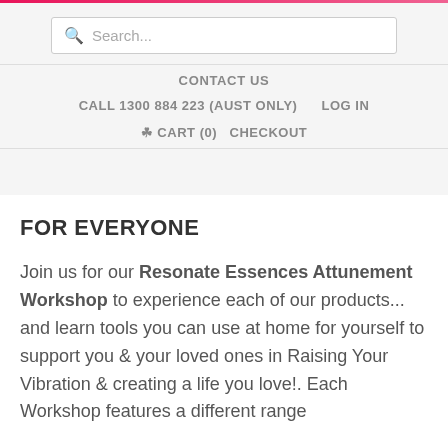Search...
CONTACT US
CALL 1300 884 223 (AUST ONLY)   LOG IN
CART (0)   CHECKOUT
FOR EVERYONE
Join us for our Resonate Essences Attunement Workshop to experience each of our products... and learn tools you can use at home for yourself to support you & your loved ones in Raising Your Vibration & creating a life you love!. Each Workshop features a different range